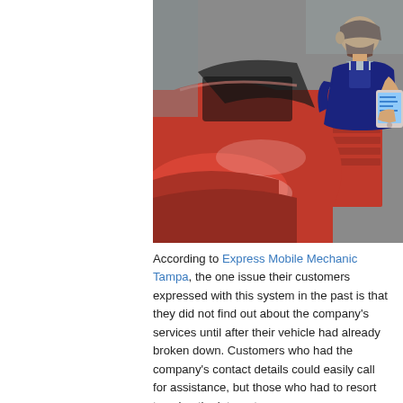[Figure (photo): A mechanic in overalls looking at a tablet computer while standing next to an open hood of a red car in an auto repair shop.]
According to Express Mobile Mechanic Tampa, the one issue their customers expressed with this system in the past is that they did not find out about the company's services until after their vehicle had already broken down. Customers who had the company's contact details could easily call for assistance, but those who had to resort to using the internet